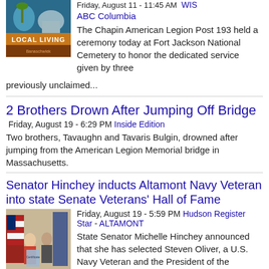[Figure (photo): Local Living TV segment thumbnail with text 'LOCAL LIVING' and Banaschwiek branding]
ABC Columbia
The Chapin American Legion Post 193 held a ceremony today at Fort Jackson National Cemetery to honor the dedicated service given by three previously unclaimed...
2 Brothers Drown After Jumping Off Bridge
Friday, August 19 - 6:29 PM  Inside Edition
Two brothers, Tavaughn and Tavaris Bulgin, drowned after jumping from the American Legion Memorial bridge in Massachusetts.
Senator Hinchey inducts Altamont Navy Veteran into state Senate Veterans' Hall of Fame
[Figure (photo): Senator Michelle Hinchey standing with Steven Oliver, a U.S. Navy Veteran, in front of an American flag and blue flag]
Friday, August 19 - 5:59 PM  Hudson Register Star - ALTAMONT
State Senator Michelle Hinchey announced that she has selected Steven Oliver, a U.S. Navy Veteran and the President of the American Legion Riders of Helderberg...